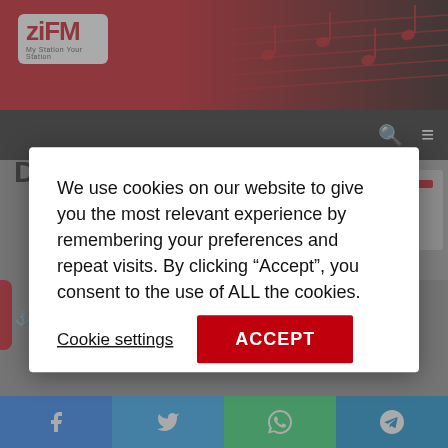[Figure (screenshot): ZiFM Stereo radio station website header with red background, ZiFM logo in white box on left, decorative music notes on dark right side]
[Figure (screenshot): Dark navigation bar with search icon and hamburger menu icon on the right]
We use cookies on our website to give you the most relevant experience by remembering your preferences and repeat visits. By clicking “Accept”, you consent to the use of ALL the cookies.
Cookie settings
ACCEPT
Date, Avoids Clash With F9
2 minutes read
[Figure (screenshot): Social share bar at bottom with Facebook, Twitter, WhatsApp, and Telegram buttons]